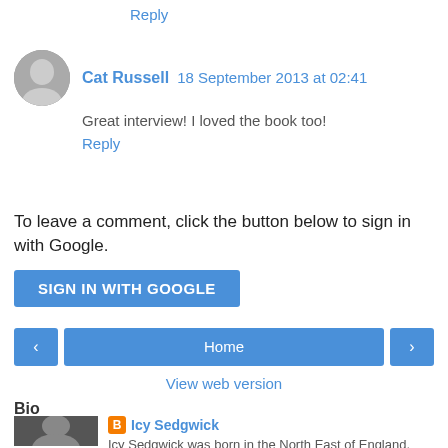Reply
Cat Russell  18 September 2013 at 02:41
Great interview! I loved the book too!
Reply
To leave a comment, click the button below to sign in with Google.
SIGN IN WITH GOOGLE
Home
View web version
Bio
Icy Sedgwick
Icy Sedgwick was born in the North East of England,